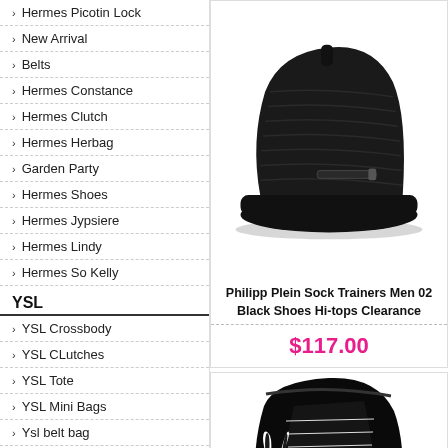Hermes Picotin Lock
New Arrival
Belts
Hermes Constance
Hermes Clutch
Hermes Herbag
Garden Party
Hermes Shoes
Hermes Jypsiere
Hermes Lindy
Hermes So Kelly
YSL
YSL Crossbody
YSL CLutches
YSL Tote
YSL Mini Bags
Ysl belt bag
YSL Large Shoulder Bags
YSL Envelope Chain Bags
Ysl loulou bag
YSL shoes
[Figure (photo): Black Philipp Plein sock trainer high-top sneaker]
Philipp Plein Sock Trainers Men 02 Black Shoes Hi-tops Clearance
$117.00
[Figure (photo): Black high-top sneaker with white Playboy bunny logo]